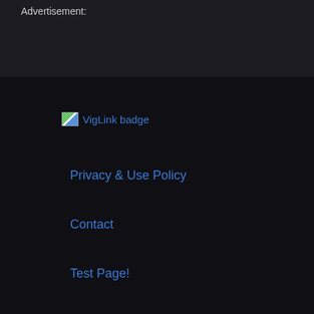Advertisement:
[Figure (logo): VigLink badge image placeholder with broken image icon and alt text 'VigLink badge']
Privacy & Use Policy
Contact
Test Page!
Copyright © 2022 GamersNexus, LLC. All rights reserved. GamersNexus.net is Owned, Operated, & Maintained by GamersNexus, LLC.
.. ..